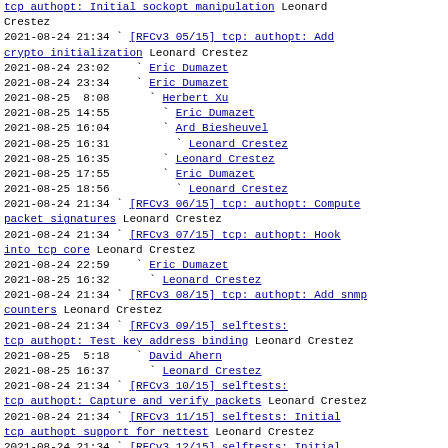tcp authopt: Initial sockopt manipulation Leonard Crestez
2021-08-24 21:34  ` [RFCv3 05/15] tcp: authopt: Add crypto initialization Leonard Crestez
2021-08-24 23:02    ` Eric Dumazet
2021-08-24 23:34    ` Eric Dumazet
2021-08-25  8:08      ` Herbert Xu
2021-08-25 14:55        ` Eric Dumazet
2021-08-25 16:04        ` Ard Biesheuvel
2021-08-25 16:31          ` Leonard Crestez
2021-08-25 16:35        ` Leonard Crestez
2021-08-25 17:55        ` Eric Dumazet
2021-08-25 18:56          ` Leonard Crestez
2021-08-24 21:34  ` [RFCv3 06/15] tcp: authopt: Compute packet signatures Leonard Crestez
2021-08-24 21:34  ` [RFCv3 07/15] tcp: authopt: Hook into tcp core Leonard Crestez
2021-08-24 22:59    ` Eric Dumazet
2021-08-25 16:32      ` Leonard Crestez
2021-08-24 21:34  ` [RFCv3 08/15] tcp: authopt: Add snmp counters Leonard Crestez
2021-08-24 21:34  ` [RFCv3 09/15] selftests: tcp authopt: Test key address binding Leonard Crestez
2021-08-25  5:18    ` David Ahern
2021-08-25 16:37      ` Leonard Crestez
2021-08-24 21:34  ` [RFCv3 10/15] selftests: tcp authopt: Capture and verify packets Leonard Crestez
2021-08-24 21:34  ` [RFCv3 11/15] selftests: Initial tcp authopt support for nettest Leonard Crestez
2021-08-24 21:34  ` [RFCv3 12/15] selftests: Initial tcp authopt support for fcnal test Leonard Crestez